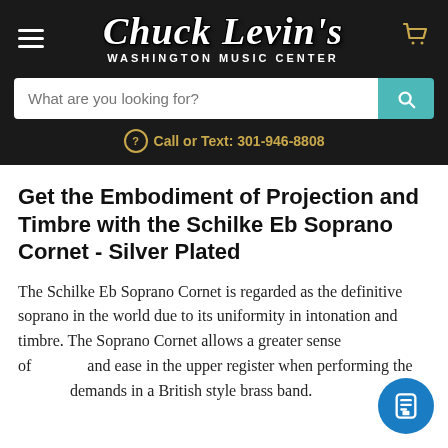[Figure (logo): Chuck Levin's Washington Music Center logo with hamburger menu and cart icon on dark background]
[Figure (screenshot): Search bar with placeholder 'What are you looking for?' and teal search button]
Call or Text: 301-946-8808
Get the Embodiment of Projection and Timbre with the Schilke Eb Soprano Cornet - Silver Plated
The Schilke Eb Soprano Cornet is regarded as the definitive soprano in the world due to its uniformity in intonation and timbre. The Soprano Cornet allows a greater sense of [clarity] and ease in the upper register when performing the [music] demands in a British style brass band.